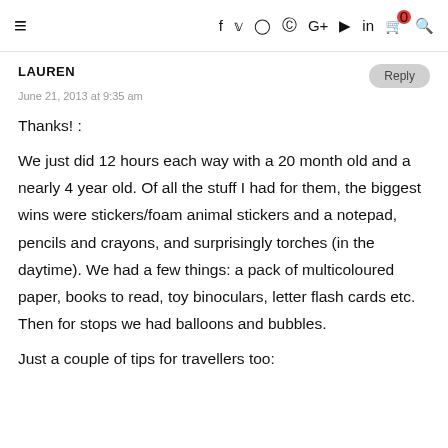≡  f  y  ⊙  ⊕  G+  ▶  in  🛒0  🔍
LAUREN
June 21, 2013 at 9:35 am
Thanks! :
We just did 12 hours each way with a 20 month old and a nearly 4 year old. Of all the stuff I had for them, the biggest wins were stickers/foam animal stickers and a notepad, pencils and crayons, and surprisingly torches (in the daytime). We had a few things: a pack of multicoloured paper, books to read, toy binoculars, letter flash cards etc. Then for stops we had balloons and bubbles.
Just a couple of tips for travellers too: